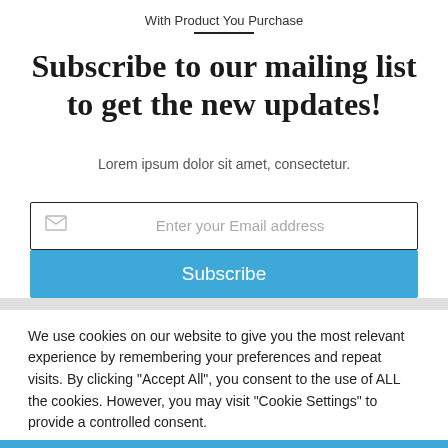With Product You Purchase
Subscribe to our mailing list to get the new updates!
Lorem ipsum dolor sit amet, consectetur.
Enter your Email address
Subscribe
We use cookies on our website to give you the most relevant experience by remembering your preferences and repeat visits. By clicking "Accept All", you consent to the use of ALL the cookies. However, you may visit "Cookie Settings" to provide a controlled consent.
Cookie Settings
Accept All